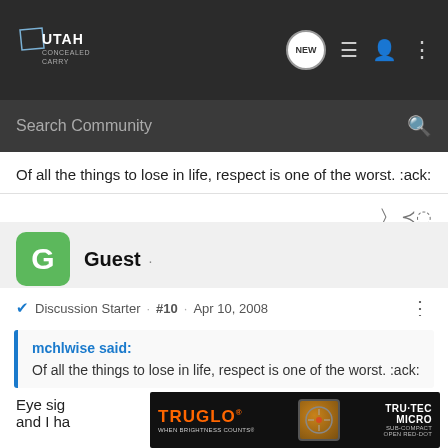Utah Concealed Carry — Search Community
Of all the things to lose in life, respect is one of the worst. :ack:
Guest ·
Discussion Starter · #10 · Apr 10, 2008
mchlwise said:
Of all the things to lose in life, respect is one of the worst. :ack:
Eye sig... Missus and I ha... an ...
[Figure (advertisement): TruGlo / Tru-Tec Micro advertisement banner with orange TruGlo logo, a red-dot scope image, and Tru-Tec Micro product text on black background]